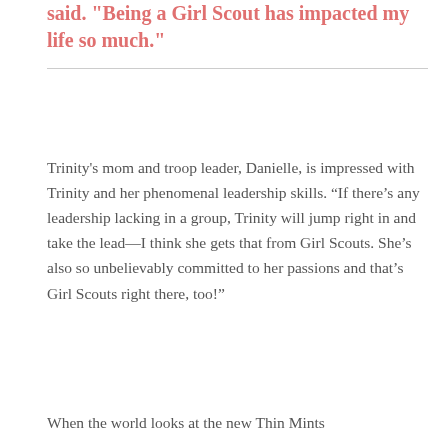said. "Being a Girl Scout has impacted my life so much."
Trinity's mom and troop leader, Danielle, is impressed with Trinity and her phenomenal leadership skills. “If there’s any leadership lacking in a group, Trinity will jump right in and take the lead—I think she gets that from Girl Scouts. She’s also so unbelievably committed to her passions and that’s Girl Scouts right there, too!”
When the world looks at the new Thin Mints